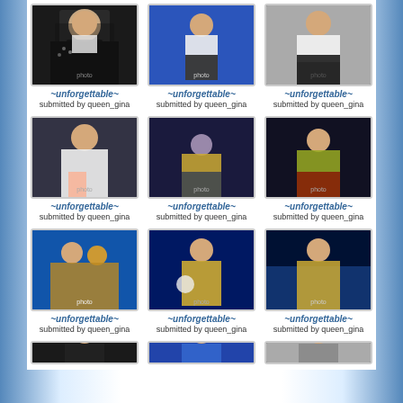[Figure (photo): Photo 1 row 1: Person in black sequined jacket]
~unforgettable~
submitted by queen_gina
[Figure (photo): Photo 2 row 1: Person in white shirt dancing]
~unforgettable~
submitted by queen_gina
[Figure (photo): Photo 3 row 1: Person in white shirt and black pants]
~unforgettable~
submitted by queen_gina
[Figure (photo): Photo 1 row 2: Person in white shirt performing]
~unforgettable~
submitted by queen_gina
[Figure (photo): Photo 2 row 2: Person in yellow jacket bending]
~unforgettable~
submitted by queen_gina
[Figure (photo): Photo 3 row 2: Person in yellow-green jacket singing]
~unforgettable~
submitted by queen_gina
[Figure (photo): Photo 1 row 3: Two performers on stage]
~unforgettable~
submitted by queen_gina
[Figure (photo): Photo 2 row 3: Person in yellow jacket with another person]
~unforgettable~
submitted by queen_gina
[Figure (photo): Photo 3 row 3: Person in gold jacket performing on stage]
~unforgettable~
submitted by queen_gina
[Figure (photo): Photo 1 row 4 (partial): Partially visible photo]
[Figure (photo): Photo 2 row 4 (partial): Partially visible photo]
[Figure (photo): Photo 3 row 4 (partial): Partially visible photo]